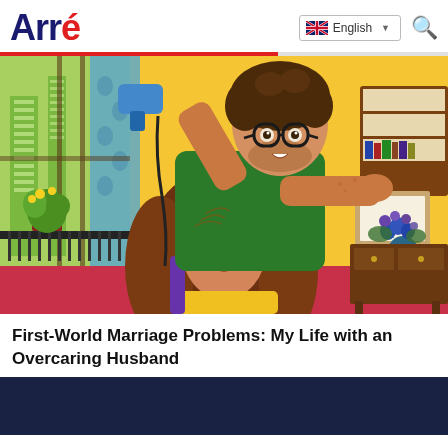Arré — English language selector and search icon
[Figure (illustration): Colorful illustration of a man with glasses and curly brown hair wearing a green t-shirt, blow-drying the hair of a woman with long wavy brown hair wearing a yellow top. Background shows a warm yellow room with a city view through a window, potted plants, a bookshelf and flowers.]
First-World Marriage Problems: My Life with an Overcaring Husband